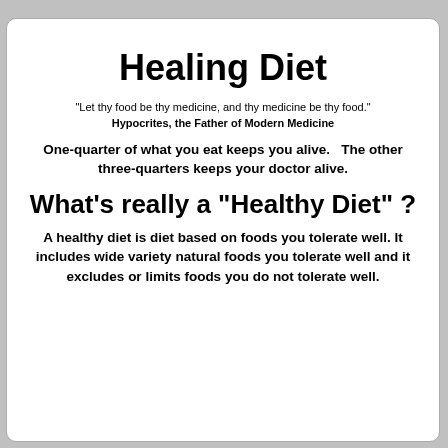Healing Diet
"Let thy food be thy medicine, and thy medicine be thy food."
Hypocrites, the Father of Modern Medicine
One-quarter of what you eat keeps you alive.   The other three-quarters keeps your doctor alive.
What's really a "Healthy Diet" ?
A healthy diet is diet based on foods you tolerate well. It includes wide variety natural foods you tolerate well and it excludes or limits foods you do not tolerate well.